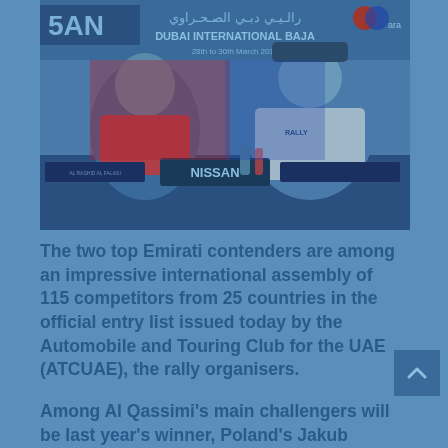[Figure (photo): Press conference photo showing two men seated at a table with NISSAN branding visible. Banner in background reads 'DUBAI INTERNATIONAL BAJA' with Arabic text and dates '28th to 30th March 2019'. Logos visible including Red Bull and other sponsors. One man wearing a cap on the right.]
The two top Emirati contenders are among an impressive international assembly of 115 competitors from 25 countries in the official entry list issued today by the Automobile and Touring Club for the UAE (ATCUAE), the rally organisers.
Among Al Qassimi's main challengers will be last year's winner, Poland's Jakub Przygonski, this